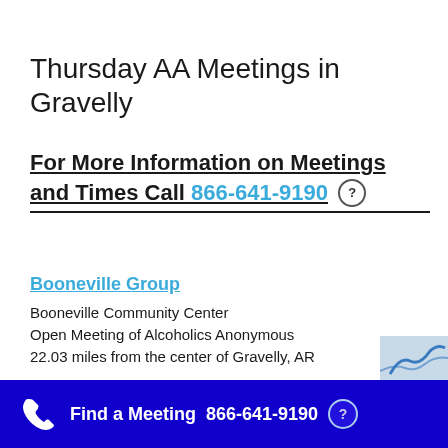Thursday AA Meetings in Gravelly
For More Information on Meetings and Times Call 866-641-9190
Booneville Group
Booneville Community Center
Open Meeting of Alcoholics Anonymous
22.03 miles from the center of Gravelly, AR
Find a Meeting 866-641-9190